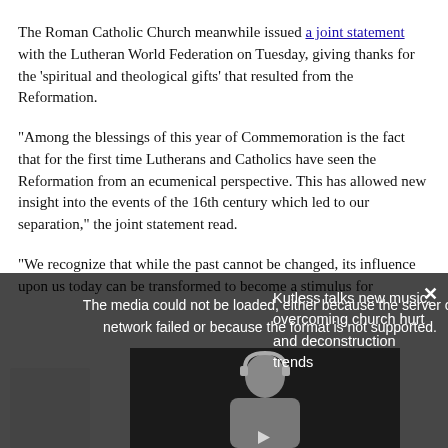The Roman Catholic Church meanwhile issued a joint statement with the Lutheran World Federation on Tuesday, giving thanks for the 'spiritual and theological gifts' that resulted from the Reformation.
"Among the blessings of this year of Commemoration is the fact that for the first time Lutherans and Catholics have seen the Reformation from an ecumenical perspective. This has allowed new insight into the events of the 16th century which led to our separation," the joint statement read.
"We recognize that while the past cannot be changed, its influence upon us today can be transformed to become a stimulus for
[Figure (screenshot): A dark overlay covering the bottom portion of the page. On the left side there is a media error message reading 'The media could not be loaded, either because the server or network failed or because the format is not supported.' with a video thumbnail area showing a person in the center. On the right side text reads 'Kutless talks new music, overcoming church hurt and deconstruction trends'. A close button (×) appears in the top right corner.]